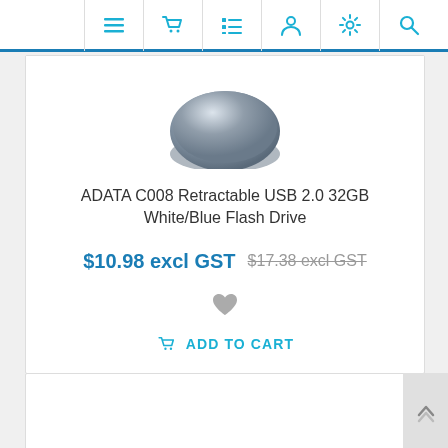Navigation bar with menu, cart, list, user, settings, and search icons
[Figure (photo): Partial view of a USB flash drive (gray/blue circular cap) at top of product card]
ADATA C008 Retractable USB 2.0 32GB White/Blue Flash Drive
$10.98 excl GST  $17.38 excl GST (strikethrough)
[Figure (illustration): Heart/wishlist icon in gray]
ADD TO CART